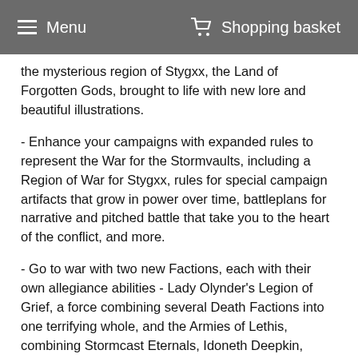Menu   Shopping basket
the mysterious region of Stygxx, the Land of Forgotten Gods, brought to life with new lore and beautiful illustrations.
- Enhance your campaigns with expanded rules to represent the War for the Stormvaults, including a Region of War for Stygxx, rules for special campaign artifacts that grow in power over time, battleplans for narrative and pitched battle that take you to the heart of the conflict, and more.
- Go to war with two new Factions, each with their own allegiance abilities - Lady Olynder's Legion of Grief, a force combining several Death Factions into one terrifying whole, and the Armies of Lethis, combining Stormcast Eternals, Idoneth Deepkin, Kharadron Overlords and Fyreslayers.
- Hire deadly Mercenary companies, regardless of your Grand Alliance. This allows you to expand your collection and mix up your play style. Special rules are also included for two unique companies: the Greyfyrd Lodge Fyreslayers and the Tenebrous